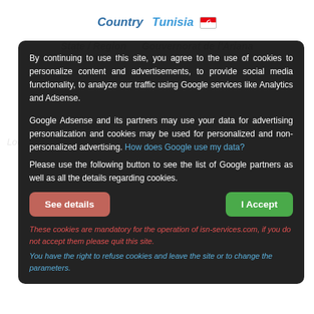Country   Tunisia 🇹🇳
State / Region    Gouvernorat de l'Ariana
By continuing to use this site, you agree to the use of cookies to personalize content and advertisements, to provide social media functionality, to analyze our traffic using Google services like Analytics and Adsense.
Google Adsense and its partners may use your data for advertising personalization and cookies may be used for personalized and non-personalized advertising. How does Google use my data?
Please use the following button to see the list of Google partners as well as all the details regarding cookies.
See details
I Accept
These cookies are mandatory for the operation of isn-services.com, if you do not accept them please quit this site.
You have the right to refuse cookies and leave the site or to change the parameters.